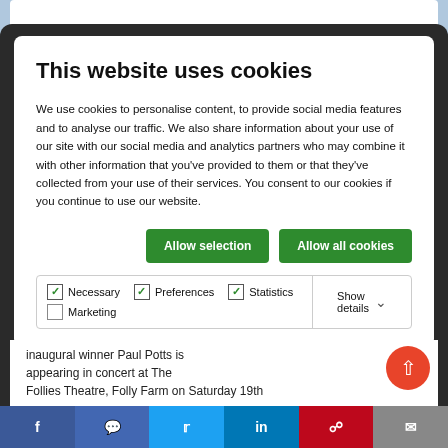This website uses cookies
We use cookies to personalise content, to provide social media features and to analyse our traffic. We also share information about your use of our site with our social media and analytics partners who may combine it with other information that you've provided to them or that they've collected from your use of their services. You consent to our cookies if you continue to use our website.
Allow selection | Allow all cookies
Necessary  Preferences  Statistics  Marketing  Show details
inaugural winner Paul Potts is appearing in concert at The Follies Theatre, Folly Farm on Saturday 19th ...